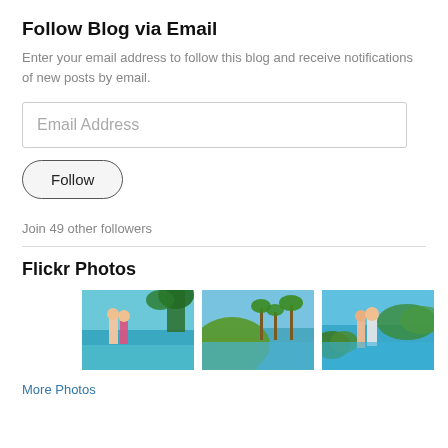Follow Blog via Email
Enter your email address to follow this blog and receive notifications of new posts by email.
Email Address
Follow
Join 49 other followers
Flickr Photos
[Figure (photo): Three Flickr photos showing tropical beach and island scenery: a couple standing near turquoise water with trees; a coastal landscape with water and palm trees; a couple standing near bright blue ocean water with hills.]
More Photos